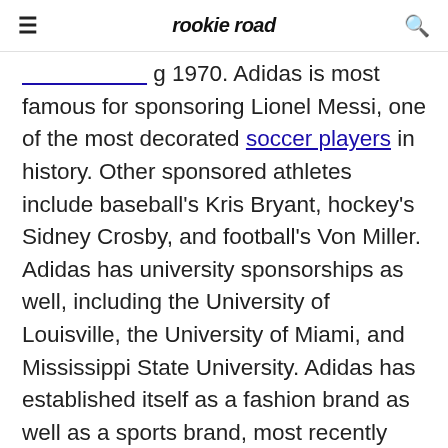rookie road
1970. Adidas is most famous for sponsoring Lionel Messi, one of the most decorated soccer players in history. Other sponsored athletes include baseball's Kris Bryant, hockey's Sidney Crosby, and football's Von Miller. Adidas has university sponsorships as well, including the University of Louisville, the University of Miami, and Mississippi State University. Adidas has established itself as a fashion brand as well as a sports brand, most recently collaborating with the artist Beyonce Knowles on a fashion line.